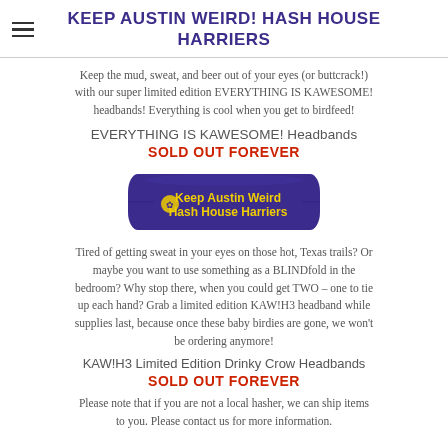KEEP AUSTIN WEIRD! HASH HOUSE HARRIERS
Keep the mud, sweat, and beer out of your eyes (or buttcrack!) with our super limited edition EVERYTHING IS KAWESOME! headbands! Everything is cool when you get to birdfeed!
EVERYTHING IS KAWESOME! Headbands
SOLD OUT FOREVER
[Figure (photo): Purple headband with yellow text reading 'Keep Austin Weird Hash House Harriers' with a small graphic]
Tired of getting sweat in your eyes on those hot, Texas trails? Or maybe you want to use something as a BLINDfold in the bedroom? Why stop there, when you could get TWO – one to tie up each hand? Grab a limited edition KAW!H3 headband while supplies last, because once these baby birdies are gone, we won't be ordering anymore!
KAW!H3 Limited Edition Drinky Crow Headbands
SOLD OUT FOREVER
Please note that if you are not a local hasher, we can ship items to you. Please contact us for more information.